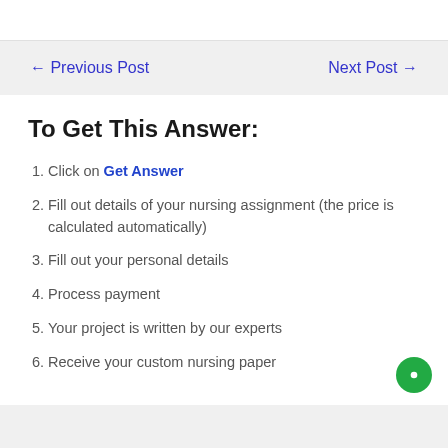← Previous Post    Next Post →
To Get This Answer:
Click on Get Answer
Fill out details of your nursing assignment (the price is calculated automatically)
Fill out your personal details
Process payment
Your project is written by our experts
Receive your custom nursing paper